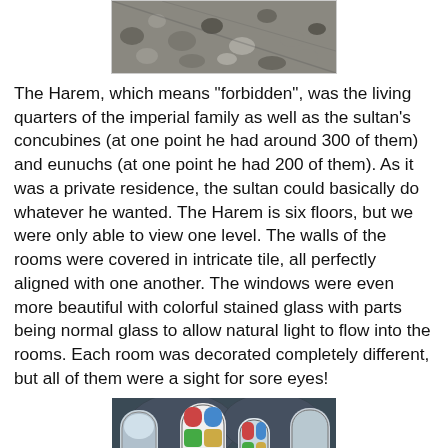[Figure (photo): Top portion of a photo showing a textured surface with pebbles or stones, partially cropped at the top of the page.]
The Harem, which means "forbidden", was the living quarters of the imperial family as well as the sultan's concubines (at one point he had around 300 of them) and eunuchs (at one point he had 200 of them). As it was a private residence, the sultan could basically do whatever he wanted. The Harem is six floors, but we were only able to view one level. The walls of the rooms were covered in intricate tile, all perfectly aligned with one another. The windows were even more beautiful with colorful stained glass with parts being normal glass to allow natural light to flow into the rooms. Each room was decorated completely different, but all of them were a sight for sore eyes!
[Figure (photo): Interior photo of an ornate room in the Harem with colorful stained glass arched windows, intricate blue tile work covering the walls, and decorative architectural details.]